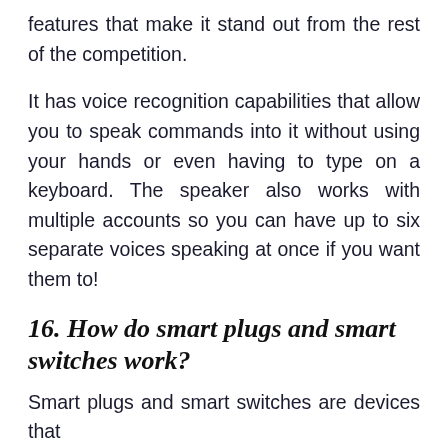features that make it stand out from the rest of the competition.
It has voice recognition capabilities that allow you to speak commands into it without using your hands or even having to type on a keyboard. The speaker also works with multiple accounts so you can have up to six separate voices speaking at once if you want them to!
16. How do smart plugs and smart switches work?
Smart plugs and smart switches are devices that...